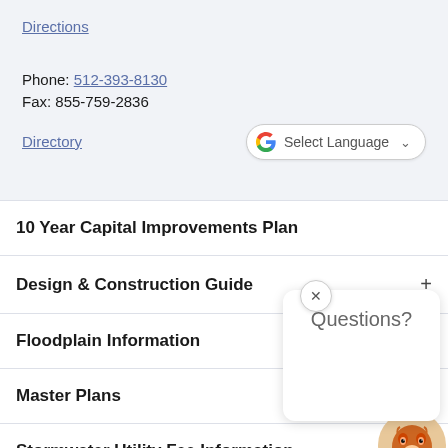Directions
Phone: 512-393-8130
Fax: 855-759-2836
Directory
10 Year Capital Improvements Plan
Design & Construction Guide
Floodplain Information
Master Plans
Stormwater Utility Fee Information